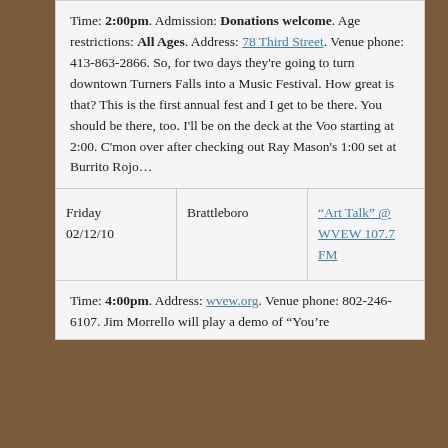Time: 2:00pm. Admission: Donations welcome. Age restrictions: All Ages. Address: 78 Third Street. Venue phone: 413-863-2866. So, for two days they're going to turn downtown Turners Falls into a Music Festival. How great is that? This is the first annual fest and I get to be there. You should be there, too. I'll be on the deck at the Voo starting at 2:00. C'mon over after checking out Ray Mason's 1:00 set at Burrito Rojo…
| Date | Venue | Event |
| --- | --- | --- |
| Friday 02/12/10 | Brattleboro | “Art Talk” @ WVEW 107.7 FM |
Time: 4:00pm. Address: wvew.org. Venue phone: 802-246-6107. Jim Morrello will play a demo of "You're...